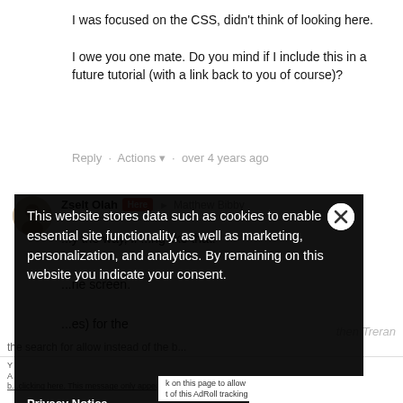I was focused on the CSS, didn't think of looking here.
I owe you one mate. Do you mind if I include this in a future tutorial (with a link back to you of course)?
Reply · Actions ▼ · over 4 years ago
Zselt Olah  [Here]  ► Matthew Bibby
...by the way, if ...ng like that:
...ne screen.
...es) for the
[Figure (screenshot): Cookie consent overlay popup on dark background with text: 'This website stores data such as cookies to enable essential site functionality, as well as marketing, personalization, and analytics. By remaining on this website you indicate your consent.' with a Privacy Notice link and an Accept and Close button.]
Y...A...b...
the search for allow instead of the b...
then Treran